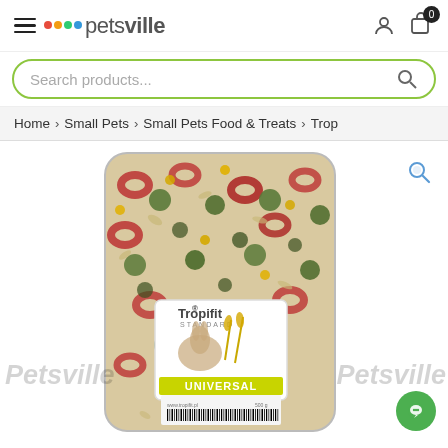Petsville – navigation header with hamburger menu, logo, user icon, and cart (0 items)
Search products...
Home > Small Pets > Small Pets Food & Treats > Trop
[Figure (photo): Tropifit Standard Universal small pets food bag (500g) filled with colorful mixed pellets, seeds, and rings. Bag shows a rabbit on the label with 'UNIVERSAL' text in yellow. Petsville watermark visible on left and right. Magnifier icon in top-right corner of image area.]